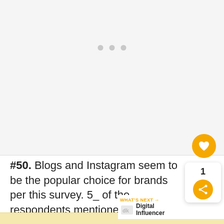[Figure (other): Light gray placeholder image area with three gray dots centered near the top, representing a loading or empty image region]
#50. Blogs and Instagram seem to be the popular choice for brands per this survey. 5_ of the respondents mentioned that they use blogs for sponsored posts.